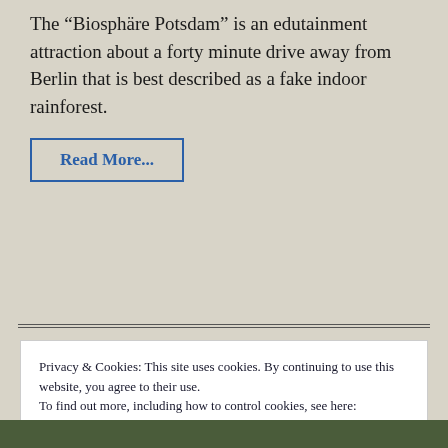The “Biosphäre Potsdam” is an edutainment attraction about a forty minute drive away from Berlin that is best described as a fake indoor rainforest.
Read More...
Privacy & Cookies: This site uses cookies. By continuing to use this website, you agree to their use.
To find out more, including how to control cookies, see here:
Our Cookie Policy
Close and accept
[Figure (photo): Bottom edge of a nature/plant photo, showing green foliage]